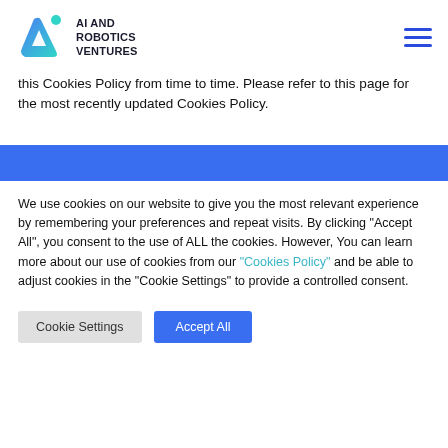AI AND ROBOTICS VENTURES
this Cookies Policy from time to time. Please refer to this page for the most recently updated Cookies Policy.
We use cookies on our website to give you the most relevant experience by remembering your preferences and repeat visits. By clicking "Accept All", you consent to the use of ALL the cookies. However, You can learn more about our use of cookies from our "Cookies Policy" and be able to adjust cookies in the "Cookie Settings" to provide a controlled consent.
Cookie Settings | Accept All